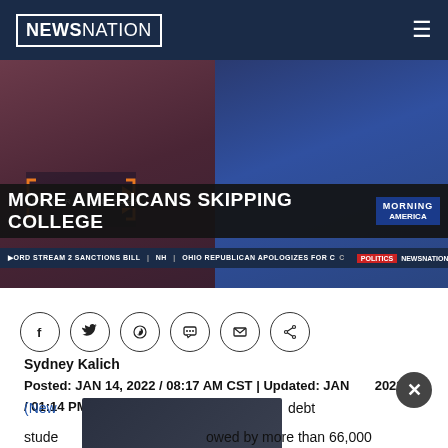NEWSNATION
[Figure (screenshot): NewsNation TV broadcast screenshot showing split screen of two anchors with lower-third headline 'MORE AMERICANS SKIPPING COLLEGE' and ticker 'NORD STREAM 2 SANCTIONS BILL | NH | OHIO REPUBLICAN APOLOGIZES FOR CC | POLITICS | NEWSNATION']
[Figure (other): Social sharing icons row: Facebook, Twitter, WhatsApp, Chat, Email, Share]
Sydney Kalich
Posted: JAN 14, 2022 / 08:17 AM CST | Updated: JAN 14, 2022 / 01:14 PM CST
(New... stude... debt owed by more than 66,000 borrowers across the U.S.